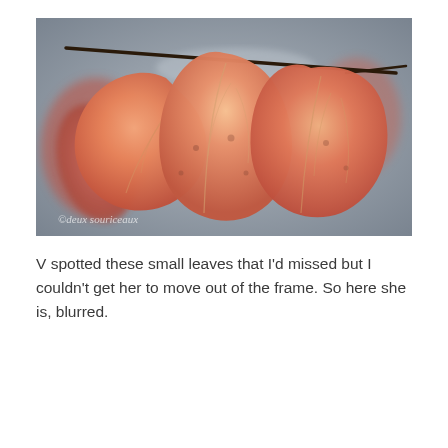[Figure (photo): Close-up photograph of orange-red autumn leaves hanging from a dark branch against a blurred background. A watermark reads '©deux souriceaux' in the lower-left corner.]
V spotted these small leaves that I'd missed but I couldn't get her to move out of the frame. So here she is, blurred.